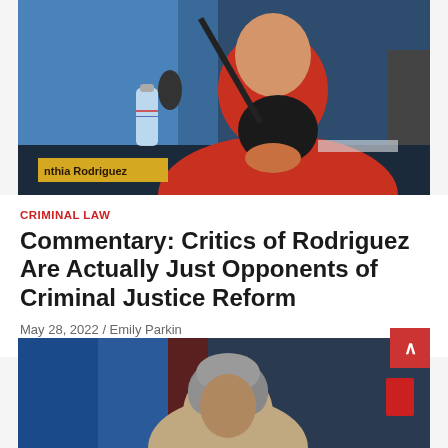[Figure (photo): Woman in a red jacket sitting at a panel table with a microphone and water bottle; a yellow nameplate reading 'nthia Rodriguez' (Cynthia Rodriguez) is visible in the foreground.]
CRIMINAL LAW
Commentary: Critics of Rodriguez Are Actually Just Opponents of Criminal Justice Reform
May 28, 2022 / Emily Parkin
[Figure (photo): Partial view of a person with curly gray hair at what appears to be a panel or event, with blue and dark background elements visible.]